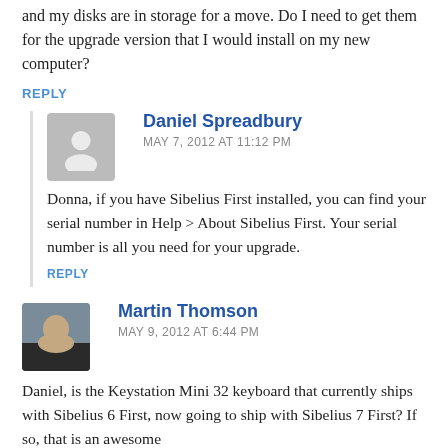and my disks are in storage for a move. Do I need to get them for the upgrade version that I would install on my new computer?
REPLY
Daniel Spreadbury
MAY 7, 2012 AT 11:12 PM
Donna, if you have Sibelius First installed, you can find your serial number in Help > About Sibelius First. Your serial number is all you need for your upgrade.
REPLY
Martin Thomson
MAY 9, 2012 AT 6:44 PM
Daniel, is the Keystation Mini 32 keyboard that currently ships with Sibelius 6 First, now going to ship with Sibelius 7 First? If so, that is an awesome